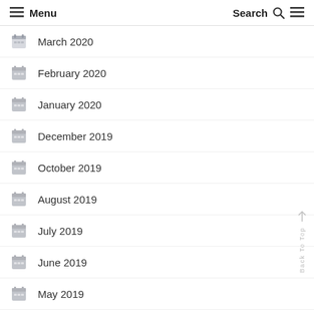Menu | Search
March 2020
February 2020
January 2020
December 2019
October 2019
August 2019
July 2019
June 2019
May 2019
April 2019